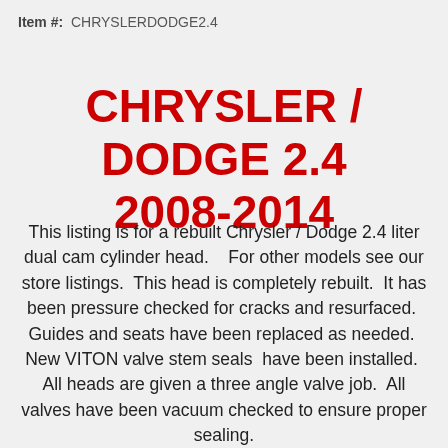Item #:  CHRYSLERDODGE2.4
CHRYSLER / DODGE 2.4
2008-2014
This listing is for a rebuilt Chrysler / Dodge 2.4 liter dual cam cylinder head.    For other models see our store listings.  This head is completely rebuilt.  It has been pressure checked for cracks and resurfaced.  Guides and seats have been replaced as needed.  New VITON valve stem seals  have been installed.  All heads are given a three angle valve job.  All valves have been vacuum checked to ensure proper sealing.